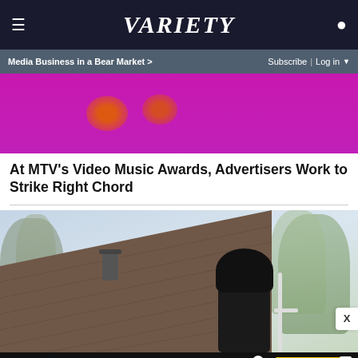VARIETY
Media Business in a Bear Market >  Subscribe | Log in
[Figure (photo): Partial view of a magenta/purple background with orange blob shapes — top portion of an article image related to MTV VMAs]
At MTV's Video Music Awards, Advertisers Work to Strike Right Chord
[Figure (photo): Outdoor photo of a residential rooftop with brown shingles, a chimney, bare and leafing trees in background, and a person in a black hoodie working near a ladder railing]
[Figure (photo): Advertisement banner: SPY-TESTED MASSAGE GUN NOW JUST $79 with SPY logo in yellow on black background]